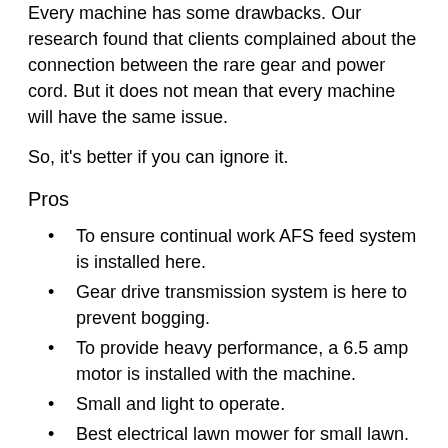Every machine has some drawbacks. Our research found that clients complained about the connection between the rare gear and power cord. But it does not mean that every machine will have the same issue.
So, it's better if you can ignore it.
Pros
To ensure continual work AFS feed system is installed here.
Gear drive transmission system is here to prevent bogging.
To provide heavy performance, a 6.5 amp motor is installed with the machine.
Small and light to operate.
Best electrical lawn mower for small lawn.
Cons
The extension power cord is not attached to the